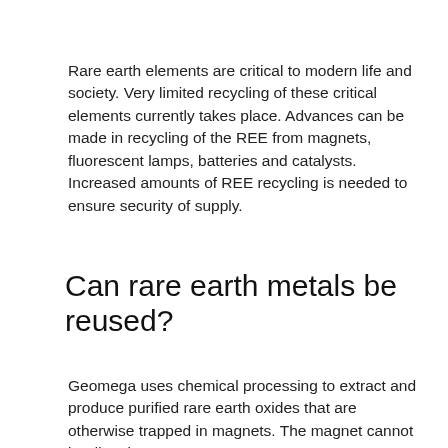Rare earth elements are critical to modern life and society. Very limited recycling of these critical elements currently takes place. Advances can be made in recycling of the REE from magnets, fluorescent lamps, batteries and catalysts. Increased amounts of REE recycling is needed to ensure security of supply.
Can rare earth metals be reused?
Geomega uses chemical processing to extract and produce purified rare earth oxides that are otherwise trapped in magnets. The magnet cannot be directly